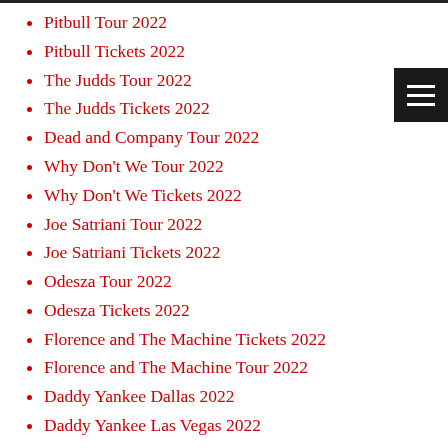Pitbull Tour 2022
Pitbull Tickets 2022
The Judds Tour 2022
The Judds Tickets 2022
Dead and Company Tour 2022
Why Don't We Tour 2022
Why Don't We Tickets 2022
Joe Satriani Tour 2022
Joe Satriani Tickets 2022
Odesza Tour 2022
Odesza Tickets 2022
Florence and The Machine Tickets 2022
Florence and The Machine Tour 2022
Daddy Yankee Dallas 2022
Daddy Yankee Las Vegas 2022
Daddy Yankee Portland 2022
Garth Brooks Charlotte 2022
Garth Brooks Cincinnati 2022
Garth Brooks Tickets 2022
Garth Brooks Tour 2022